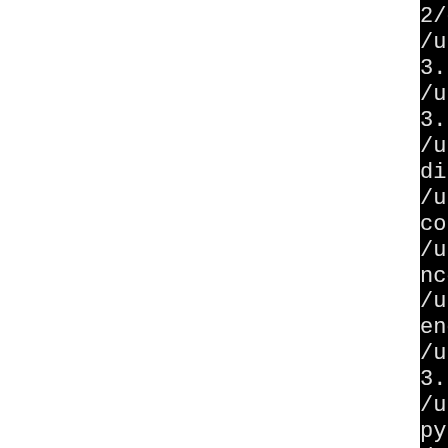2/encodings
/usr/bin/install -c -m 644
3.2/encodings
/usr/bin/install -c -m 644
3.2/encodings
/usr/bin/install -c -m 644
dings
/usr/bin/install -c -m 644
codings
/usr/bin/install -c -m 644
ncodings
/usr/bin/install -c -m 644
encodings
/usr/bin/install -c -m 644
3.2/encodings
/usr/bin/install -c -m 644
python3.2/encodings
/usr/bin/install -c ./Lib
/usr/bin/install -c -m 644
2/encodings
/usr/bin/install -c -m 644
on3.2/encodings
/usr/bin/install -c -m 644
on3.2/encodings